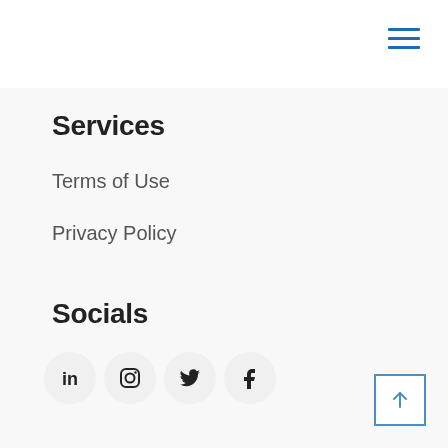[Figure (other): Hamburger menu icon with three horizontal blue lines in top-right corner]
Services
Terms of Use
Privacy Policy
Socials
[Figure (other): Row of four social media icons in circles: LinkedIn, Instagram, Twitter, Facebook]
[Figure (other): Back to top button with upward arrow in a square border, bottom-right corner]